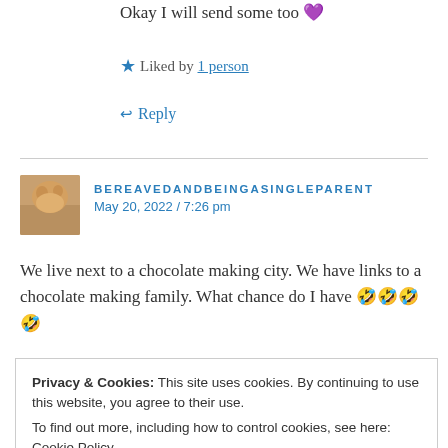Okay I will send some too 💜
⭐ Liked by 1 person
↩ Reply
BEREAVEDANDBEINGASINGLEPARENT
May 20, 2022 / 7:26 pm
We live next to a chocolate making city. We have links to a chocolate making family. What chance do I have 🤣🤣🤣🤣
⭐ Liked by 1 person
Privacy & Cookies: This site uses cookies. By continuing to use this website, you agree to their use.
To find out more, including how to control cookies, see here: Cookie Policy

Close and accept